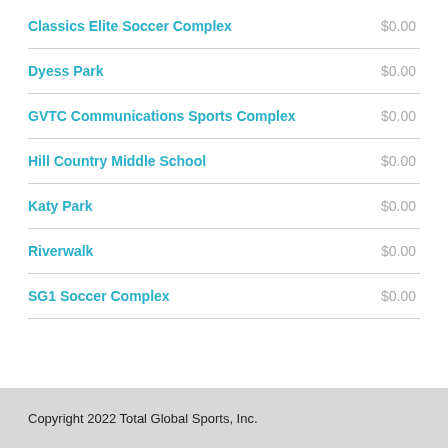Classics Elite Soccer Complex  $0.00
Dyess Park  $0.00
GVTC Communications Sports Complex  $0.00
Hill Country Middle School  $0.00
Katy Park  $0.00
Riverwalk  $0.00
SG1 Soccer Complex  $0.00
Copyright 2022 Total Global Sports, Inc.